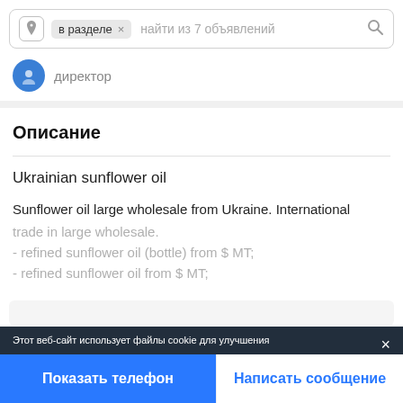в разделе × найти из 7 объявлений
директор
Описание
Ukrainian sunflower oil
Sunflower oil large wholesale from Ukraine. International trade in large wholesale.
- refined sunflower oil (bottle) from $ MT;
- refined sunflower oil from $ MT;
Этот веб-сайт использует файлы cookie для улучшения
Показать телефон
Написать сообщение